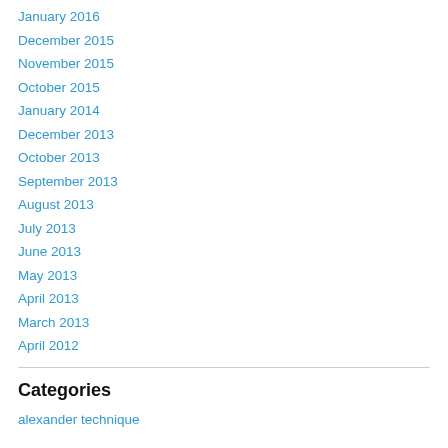January 2016
December 2015
November 2015
October 2015
January 2014
December 2013
October 2013
September 2013
August 2013
July 2013
June 2013
May 2013
April 2013
March 2013
April 2012
Categories
alexander technique